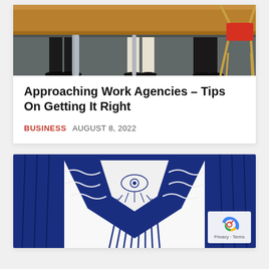[Figure (photo): Office meeting scene showing legs and feet of people seated around a wooden table, with a red chair visible, on a gray floor]
Approaching Work Agencies – Tips On Getting It Right
BUSINESS   AUGUST 8, 2022
[Figure (photo): Navy blue macrame textile wall hanging with an evil eye motif, fringe, and decorative rope knotting on white background]